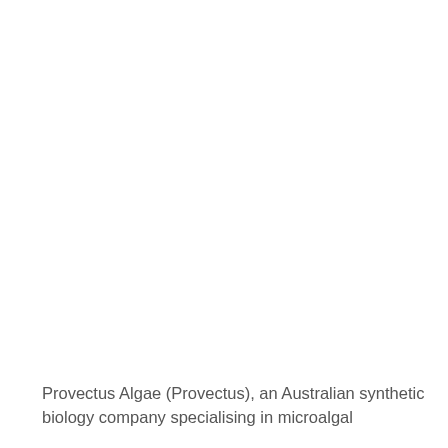Provectus Algae (Provectus), an Australian synthetic biology company specialising in microalgal